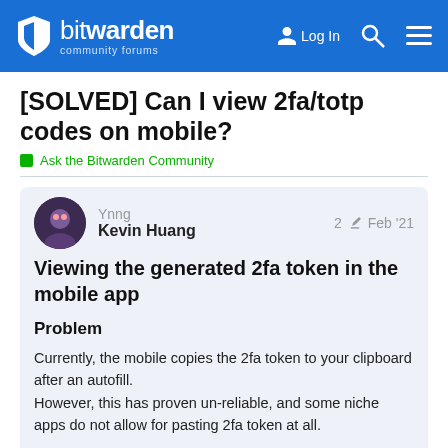bitwarden community forums — Log In
[SOLVED] Can I view 2fa/totp codes on mobile?
Ask the Bitwarden Community
Ynng
Kevin Huang
2 edits
Feb '21
Viewing the generated 2fa token in the mobile app
Problem
Currently, the mobile copies the 2fa token to your clipboard after an autofill.
However, this has proven un-reliable, and some niche apps do not allow for pasting 2fa token at all.
1 / 7